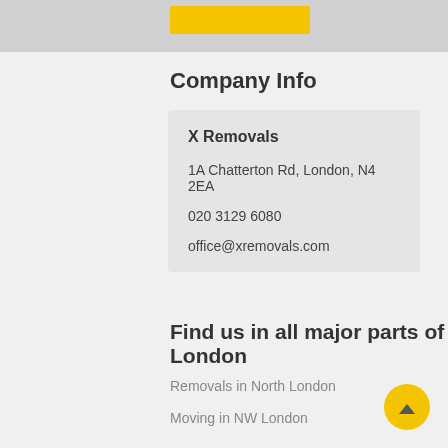[Figure (other): Gray top bar with a yellow button/bar element]
Company Info
X Removals
1A Chatterton Rd, London, N4 2EA
020 3129 6080
office@xremovals.com
Find us in all major parts of London
Removals in North London
Moving in NW London